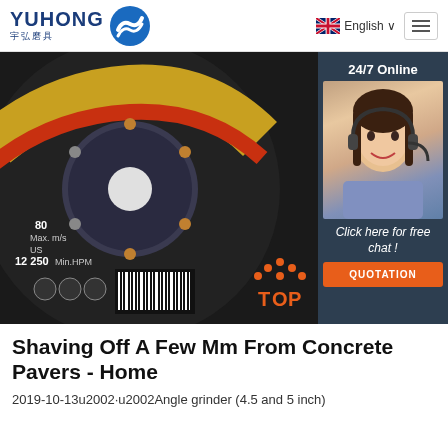YUHONG 宇弘磨具 | English | Menu
[Figure (photo): Close-up photo of a black abrasive grinding/cutting disc with yellow and red stripes, safety icons, barcode, and text including '12 250 Min.RPM'. Overlaid with a customer service widget showing a female agent with headset, '24/7 Online' label, 'Click here for free chat!' text, and an orange QUOTATION button. A red/orange 'TOP' badge with dots is visible bottom right.]
Shaving Off A Few Mm From Concrete Pavers - Home
2019-10-13u2002·u2002Angle grinder (4.5 and 5 inch)